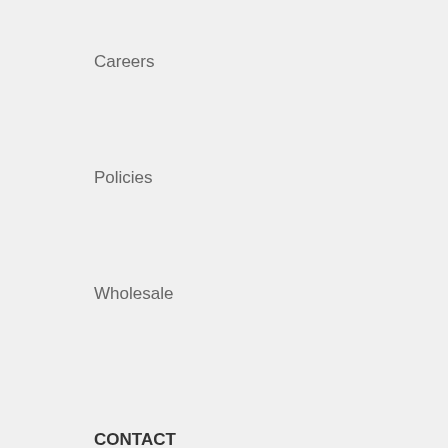Careers
Policies
Wholesale
CONTACT
gallery@grayartglass.com
613-285-6071
635 St. Lawrence Street
Box 629
Merrickville, Ontario
K0G 1N0
Canada